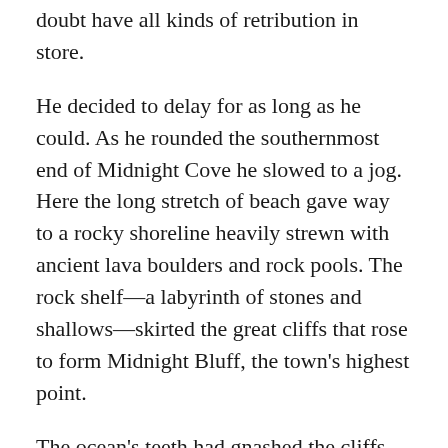doubt have all kinds of retribution in store.
He decided to delay for as long as he could. As he rounded the southernmost end of Midnight Cove he slowed to a jog. Here the long stretch of beach gave way to a rocky shoreline heavily strewn with ancient lava boulders and rock pools. The rock shelf—a labyrinth of stones and shallows—skirted the great cliffs that rose to form Midnight Bluff, the town's highest point.
The ocean's teeth had gnashed the cliffs for thousands of years carving an alien landscape of rock face and rivulets. The rock pools closest to the sandy beach made safe watery playgrounds for children to explore with buckets and spades. Further round the headland, however, access was difficult and discouraged. The gentle waves that undulated through the bay had nowhere to go when